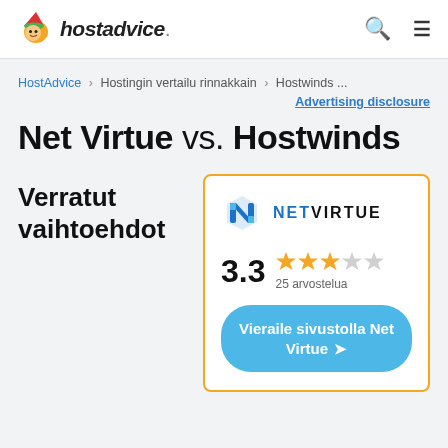hostadvice.
HostAdvice > Hostingin vertailu rinnakkain > Hostwinds ...
Advertising disclosure
Net Virtue vs. Hostwinds
Verratut vaihtoehdot
[Figure (logo): NetVirtue logo: blue geometric N-shape icon with text NETVIRTUE]
3.3  25 arvostelua
Vieraile sivustolla Net Virtue